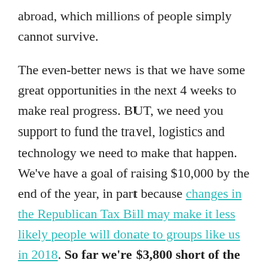abroad, which millions of people simply cannot survive.
The even-better news is that we have some great opportunities in the next 4 weeks to make real progress. BUT, we need you support to fund the travel, logistics and technology we need to make that happen. We've have a goal of raising $10,000 by the end of the year, in part because changes in the Republican Tax Bill may make it less likely people will donate to groups like us in 2018. So far we're $3,800 short of the goal. Can you chip in to support our work and help us start 2018 off right?
Here's our plan for the next few weeks, custom designed to take advantage of the crisi-tunities above: